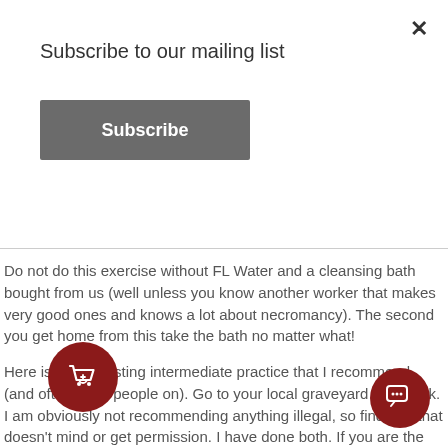Subscribe to our mailing list
Subscribe
Do not do this exercise without FL Water and a cleansing bath bought from us (well unless you know another worker that makes very good ones and knows a lot about necromancy). The second you get home from this take the bath no matter what!
Here is an interesting intermediate practice that I recommend (and often bring people on). Go to your local graveyard after dark. I am obviously not recommending anything illegal, so find one that doesn't mind or get permission. I have done both. If you are the jumpy sort, or new to magic it is best to go with a friend (you can compare sprint times back to the gate if all goes well). Get a bottle of Florida water. Unless you are, or know an experienced necromancer that offers alternate options DO NOT SUBSTITUTE or leave this out! Before you enter into the cemetery ask the keeper or the guardian of the cemetery, or Baron ask you may enter. Do this out loud, but obviously not loud enough to alert curious neighbours. You will get an impression of the answer. Upon